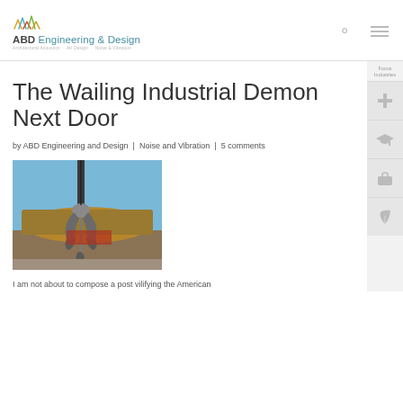ABD Engineering & Design — Architectural Acoustics · AV Design · Noise & Vibration
The Wailing Industrial Demon Next Door
by ABD Engineering and Design | Noise and Vibration | 5 comments
[Figure (photo): Industrial crane grapple claw with scrap metal yard in background, blue sky]
I am not about to compose a post vilifying the American